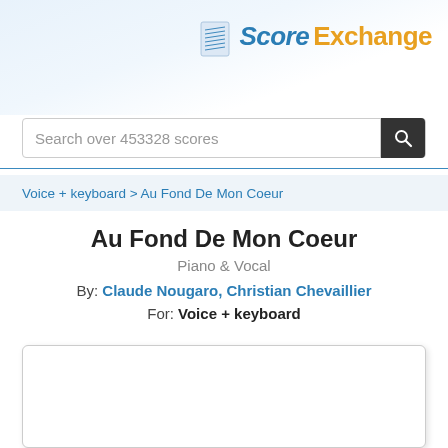[Figure (logo): Score Exchange logo with musical score icon, 'Score' in blue italic and 'Exchange' in orange bold]
Search over 453328 scores
Voice + keyboard > Au Fond De Mon Coeur
Au Fond De Mon Coeur
Piano & Vocal
By: Claude Nougaro, Christian Chevaillier
For: Voice + keyboard
[Figure (screenshot): Empty white score preview panel with rounded border and drop shadow]